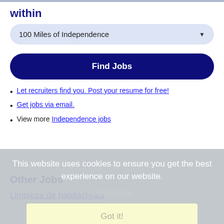within
100 Miles of Independence
Find Jobs
Let recruiters find you. Post your resume for free!
Get jobs via email.
View more Independence jobs
This website uses cookies to ensure you get the best experience on our website.
Learn more
Got it!
Other Jobs
Limpieza de habitaci-nes